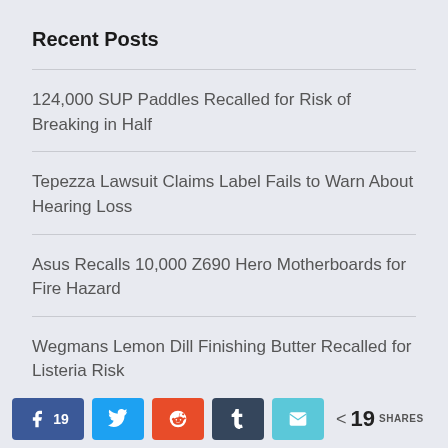Recent Posts
124,000 SUP Paddles Recalled for Risk of Breaking in Half
Tepezza Lawsuit Claims Label Fails to Warn About Hearing Loss
Asus Recalls 10,000 Z690 Hero Motherboards for Fire Hazard
Wegmans Lemon Dill Finishing Butter Recalled for Listeria Risk
Wendy's Pulls Lettuce After E. Coli Outbreak
19 shares | Facebook 19 | Twitter | Reddit | Tumblr | Email | < 19 SHARES